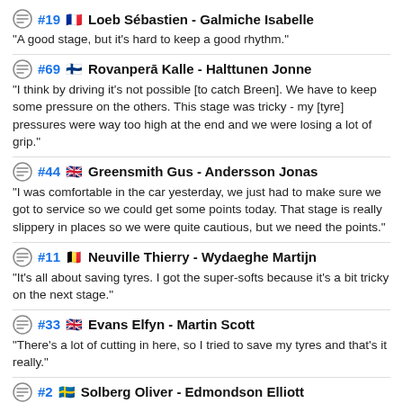#19 🇫🇷 Loeb Sébastien - Galmiche Isabelle
"A good stage, but it's hard to keep a good rhythm."
#69 🇫🇮 Rovanperā Kalle - Halttunen Jonne
"I think by driving it's not possible [to catch Breen]. We have to keep some pressure on the others. This stage was tricky - my [tyre] pressures were way too high at the end and we were losing a lot of grip."
#44 🇬🇧 Greensmith Gus - Andersson Jonas
"I was comfortable in the car yesterday, we just had to make sure we got to service so we could get some points today. That stage is really slippery in places so we were quite cautious, but we need the points."
#11 🇧🇪 Neuville Thierry - Wydaeghe Martijn
"It's all about saving tyres. I got the super-softs because it's a bit tricky on the next stage."
#33 🇬🇧 Evans Elfyn - Martin Scott
"There's a lot of cutting in here, so I tried to save my tyres and that's it really."
#2 🇸🇪 Solberg Oliver - Edmondson Elliott
"I think I did something wrong with the notes, but we went through the video to double-check everything last night..."
#18 🇯🇵 Katsuta Takamoto - Johnston Aaron